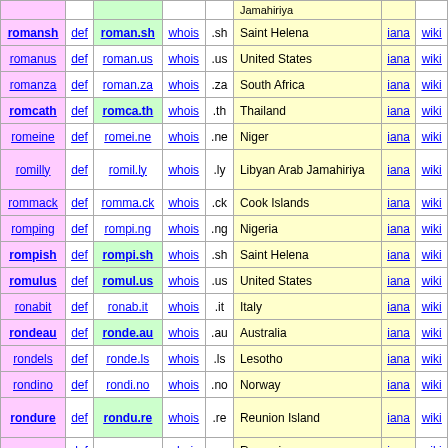| word | def | domain | whois | tld | country | iana | wiki |
| --- | --- | --- | --- | --- | --- | --- | --- |
| romansh | def | roman.sh | whois | .sh | Saint Helena | iana | wiki |
| romanus | def | roman.us | whois | .us | United States | iana | wiki |
| romanza | def | roman.za | whois | .za | South Africa | iana | wiki |
| romcath | def | romca.th | whois | .th | Thailand | iana | wiki |
| romeine | def | romei.ne | whois | .ne | Niger | iana | wiki |
| romilly | def | romil.ly | whois | .ly | Libyan Arab Jamahiriya | iana | wiki |
| rommack | def | romma.ck | whois | .ck | Cook Islands | iana | wiki |
| romping | def | rompi.ng | whois | .ng | Nigeria | iana | wiki |
| rompish | def | rompi.sh | whois | .sh | Saint Helena | iana | wiki |
| romulus | def | romul.us | whois | .us | United States | iana | wiki |
| ronabit | def | ronab.it | whois | .it | Italy | iana | wiki |
| rondeau | def | ronde.au | whois | .au | Australia | iana | wiki |
| rondels | def | ronde.ls | whois | .ls | Lesotho | iana | wiki |
| rondino | def | rondi.no | whois | .no | Norway | iana | wiki |
| rondure | def | rondu.re | whois | .re | Reunion Island | iana | wiki |
| ronegro | def | roneg.ro | whois | .ro | Romania | iana | wiki |
| ronnels | def | ronne.ls | whois | .ls | Lesotho | iana | wiki |